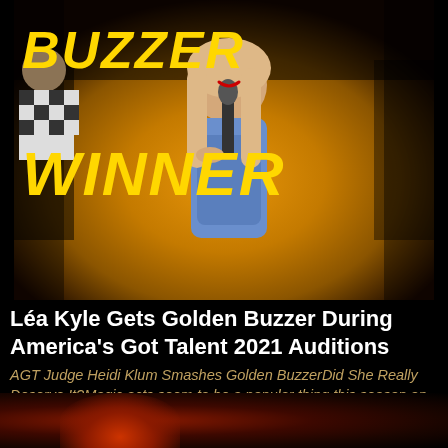[Figure (photo): A woman with long blonde hair holding a microphone, smiling on stage. Overlay text reads 'BUZZER' and 'WINNER' in large gold italic letters. The background has golden/orange stage lighting.]
Léa Kyle Gets Golden Buzzer During America's Got Talent 2021 Auditions
AGT Judge Heidi Klum Smashes Golden BuzzerDid She Really Deserve It?Magic acts seem to be a popular thing this season on America's Got Talent.  Dustin Tavella delivered a heartwarming mentalism
[Figure (photo): Partial view of a person at the bottom of the page, mostly obscured in shadow with warm reddish-orange glow lighting.]